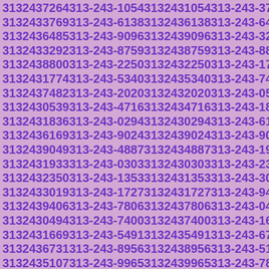3132437264 313-243-1054 3132431054 313-243-3769 3132433769 313-243-6138 3132436138 313-243-6485 3132436485 313-243-9096 3132439096 313-243-3292 3132433292 313-243-8759 3132438759 313-243-8800 3132438800 313-243-2250 3132432250 313-243-1774 3132431774 313-243-5340 3132435340 313-243-7482 3132437482 313-243-2020 3132432020 313-243-0539 3132430539 313-243-4716 3132434716 313-243-1836 3132431836 313-243-0294 3132430294 313-243-6169 3132436169 313-243-9024 3132439024 313-243-9049 3132439049 313-243-4887 3132434887 313-243-1933 3132431933 313-243-0303 3132430303 313-243-2350 3132432350 313-243-1353 3132431353 313-243-3019 3132433019 313-243-1727 3132431727 313-243-9406 3132439406 313-243-7806 3132437806 313-243-0494 3132430494 313-243-7400 3132437400 313-243-1669 3132431669 313-243-5491 3132435491 313-243-6731 3132436731 313-243-8956 3132438956 313-243-5107 3132435107 313-243-9965 3132439965 313-243-7848 3132437848 313-243-3869 3132433869 313-243-9932 3132439932 313-243-8659 3132438659 313-243-6384